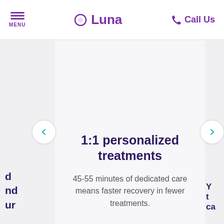MENU | Luna | Call Us
1:1 personalized treatments
45-55 minutes of dedicated care means faster recovery in fewer treatments.